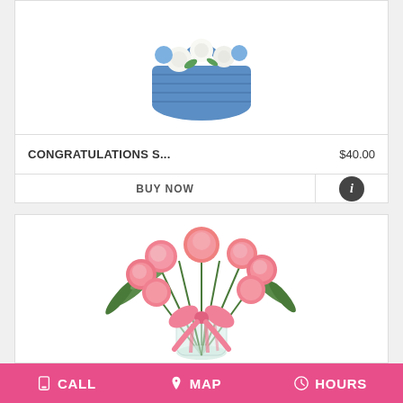[Figure (photo): Blue wicker basket with white and blue flowers arrangement at the top]
CONGRATULATIONS S...    $40.00
BUY NOW
[Figure (photo): Pink carnations in a clear glass vase with a pink ribbon bow]
CALL   MAP   HOURS